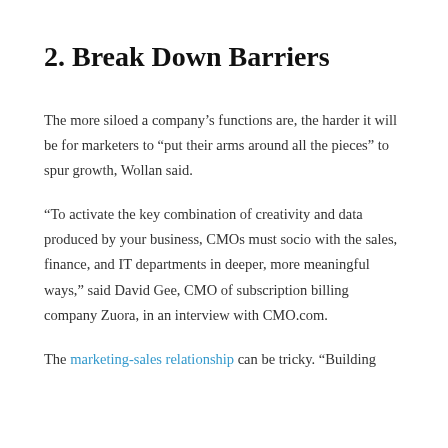2. Break Down Barriers
The more siloed a company’s functions are, the harder it will be for marketers to “put their arms around all the pieces” to spur growth, Wollan said.
“To activate the key combination of creativity and data produced by your business, CMOs must socio with the sales, finance, and IT departments in deeper, more meaningful ways,” said David Gee, CMO of subscription billing company Zuora, in an interview with CMO.com.
The marketing-sales relationship can be tricky. “Building